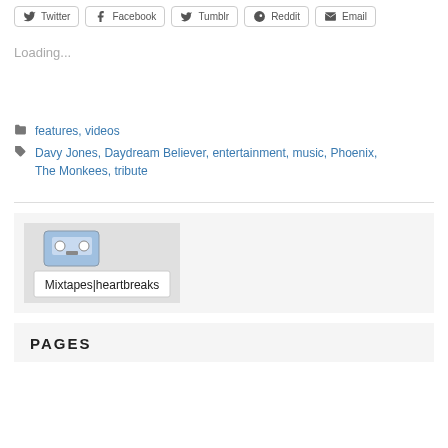[Figure (other): Social share buttons row: Twitter, Facebook, Tumblr, Reddit, Email]
Loading...
features, videos
Davy Jones, Daydream Believer, entertainment, music, Phoenix, The Monkees, tribute
[Figure (photo): A cassette tape image with handwritten label reading 'Mixtapes|heartbreaks' on a light grey background]
PAGES